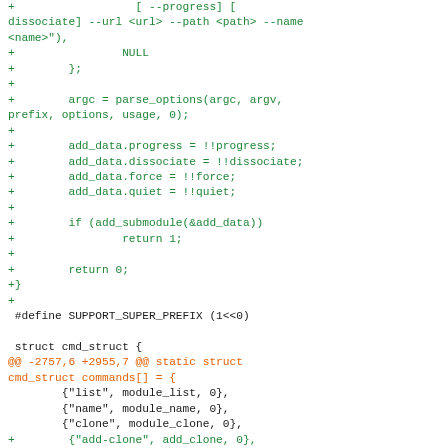Code diff showing git submodule add changes and cmd_struct commands array